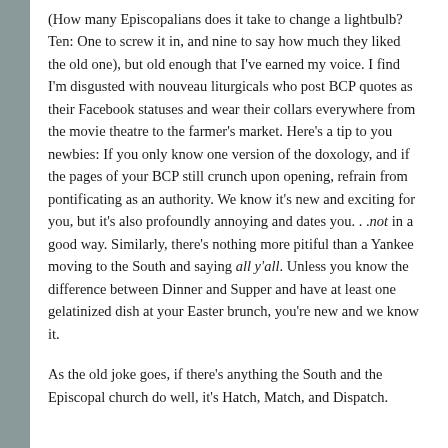(How many Episcopalians does it take to change a lightbulb? Ten: One to screw it in, and nine to say how much they liked the old one), but old enough that I've earned my voice. I find I'm disgusted with nouveau liturgicals who post BCP quotes as their Facebook statuses and wear their collars everywhere from the movie theatre to the farmer's market. Here's a tip to you newbies: If you only know one version of the doxology, and if the pages of your BCP still crunch upon opening, refrain from pontificating as an authority. We know it's new and exciting for you, but it's also profoundly annoying and dates you. . .not in a good way. Similarly, there's nothing more pitiful than a Yankee moving to the South and saying all y'all. Unless you know the difference between Dinner and Supper and have at least one gelatinized dish at your Easter brunch, you're new and we know it.
As the old joke goes, if there's anything the South and the Episcopal church do well, it's Hatch, Match, and Dispatch.